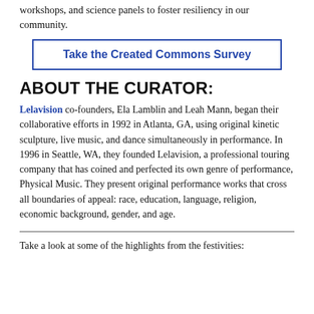workshops, and science panels to foster resiliency in our community.
Take the Created Commons Survey
ABOUT THE CURATOR:
Lelavision co-founders, Ela Lamblin and Leah Mann, began their collaborative efforts in 1992 in Atlanta, GA, using original kinetic sculpture, live music, and dance simultaneously in performance. In 1996 in Seattle, WA, they founded Lelavision, a professional touring company that has coined and perfected its own genre of performance, Physical Music. They present original performance works that cross all boundaries of appeal: race, education, language, religion, economic background, gender, and age.
Take a look at some of the highlights from the festivities: